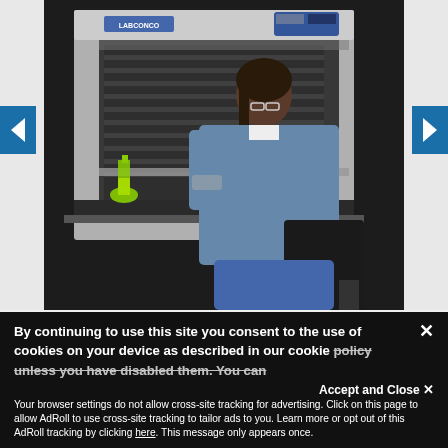[Figure (photo): A woman in a blue lab coat working at a laboratory fume hood (branded LABCONCO), handling colored flasks with green and red liquids. She is seated at the hood with safety glasses, working in a dark laboratory environment. Navigation arrow buttons (< and >) are visible on the left and right sides of the image carousel.]
By continuing to use this site you consent to the use of cookies on your device as described in our cookie policy unless you have disabled them. You can change your cookie settings at any time but parts of our site will not function correctly without them.
Accept and Close ✕
Your browser settings do not allow cross-site tracking for advertising. Click on this page to allow AdRoll to use cross-site tracking to tailor ads to you. Learn more or opt out of this AdRoll tracking by clicking here. This message only appears once.